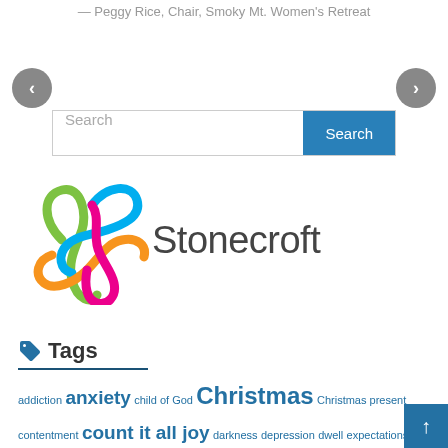— Peggy Rice, Chair, Smoky Mt. Women's Retreat
[Figure (other): Left navigation arrow circle button]
[Figure (other): Right navigation arrow circle button]
[Figure (other): Search bar with text input and Search button]
[Figure (logo): Stonecroft logo with colorful ribbon/knot icon and text 'Stonecroft']
Tags
addiction anxiety child of God Christmas Christmas present contentment count it all joy darkness depression dwell expectations Faith flourish flourishing freedom friends friendship Gratitude Guide haven holidays holidazed hope hospitality journal light momentum mountain